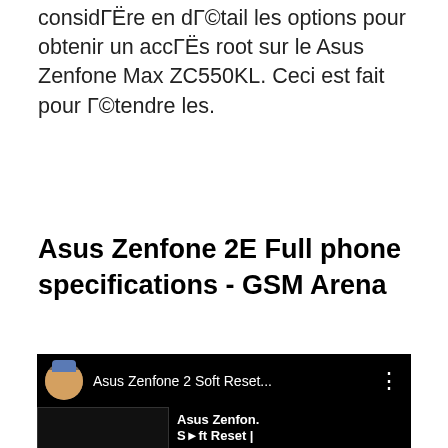considГЁre en dГ©tail les options pour obtenir un accГЁs root sur le Asus Zenfone Max ZC550KL. Ceci est fait pour Г©tendre les.
Asus Zenfone 2E Full phone specifications - GSM Arena
[Figure (screenshot): YouTube video thumbnail showing an Asus Zenfone device with boot/recovery screen. Title bar reads 'Asus Zenfone 2 Soft Reset...' with a user avatar. Overlay text reads 'Asus Zenfone Soft Reset | Hard Reset | Factory Setti...']